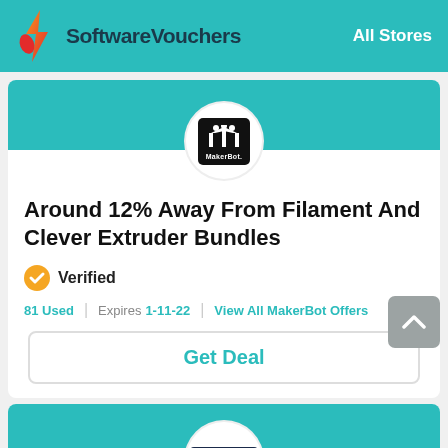SoftwareVouchers — All Stores
[Figure (logo): MakerBot logo — black rounded square with stylized M icon and 'MakerBot.' text]
Around 12% Away From Filament And Clever Extruder Bundles
✔ Verified
81 Used | Expires 1-11-22 | View All MakerBot Offers
Get Deal
[Figure (logo): Software vouchers logo — dark navy badge with shield icon and 'Software' text]
Special Labor Day Savings Ultimate